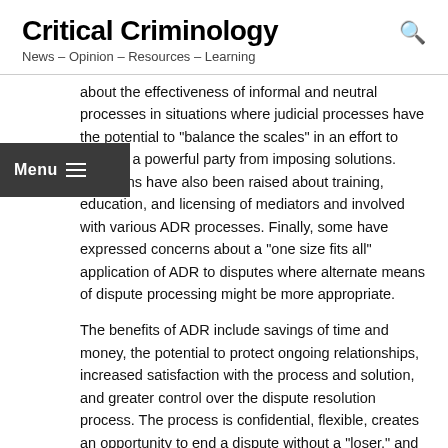Critical Criminology
News – Opinion – Resources – Learning
about the effectiveness of informal and neutral processes in situations where judicial processes have the potential to "balance the scales" in an effort to prevent a powerful party from imposing solutions. Concerns have also been raised about training, education, and licensing of mediators and involved with various ADR processes. Finally, some have expressed concerns about a "one size fits all" application of ADR to disputes where alternate means of dispute processing might be more appropriate.
The benefits of ADR include savings of time and money, the potential to protect ongoing relationships, increased satisfaction with the process and solution, and greater control over the dispute resolution process. The process is confidential, flexible, creates an opportunity to end a dispute without a "loser," and empowers parties to work together to resolve future disputes. These processes provide a fair and flexible alternative process that can be used to efficiently